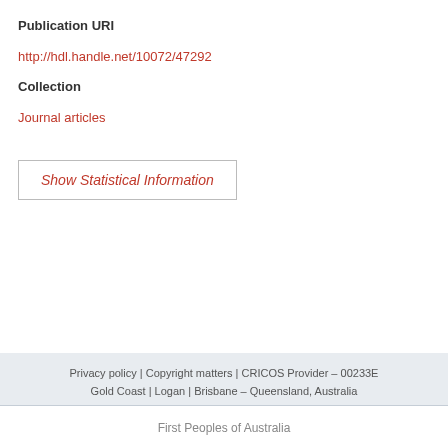Publication URI
http://hdl.handle.net/10072/47292
Collection
Journal articles
Show Statistical Information
Privacy policy | Copyright matters | CRICOS Provider - 00233E
Gold Coast | Logan | Brisbane - Queensland, Australia
First Peoples of Australia